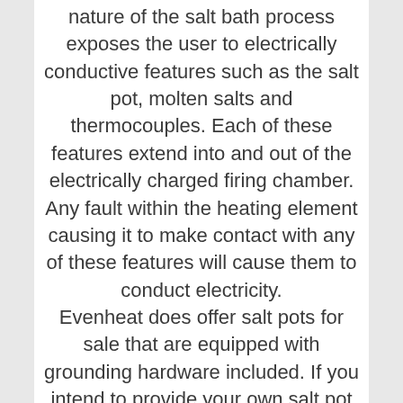nature of the salt bath process exposes the user to electrically conductive features such as the salt pot, molten salts and thermocouples. Each of these features extend into and out of the electrically charged firing chamber. Any fault within the heating element causing it to make contact with any of these features will cause them to conduct electricity.
Evenheat does offer salt pots for sale that are equipped with grounding hardware included. If you intend to provide your own salt pot we require that a